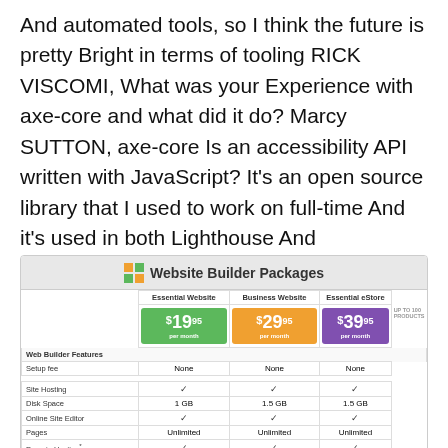And automated tools, so I think the future is pretty Bright in terms of tooling RICK VISCOMI, What was your Experience with axe-core and what did it do? Marcy SUTTON, axe-core Is an accessibility API written with JavaScript? It's an open source library that I used to work on full-time And it's used in both Lighthouse And Accessibility, Insights from Microsoft, so it's sort of An engine and a common rule set for testing accessibility And its used a lot of places.
[Figure (table-as-image): Website Builder Packages pricing table showing Essential Website ($19.95/month), Business Website ($29.95/month), and Essential eStore ($39.95/month) with features including Setup fee (None), Site Hosting (checkmark), Disk Space (1GB/1.5GB/1.5GB), Online Site Editor (checkmark), Pages (Unlimited), Domain Hosting (checkmark), POP Email Accounts (20/30/40)]